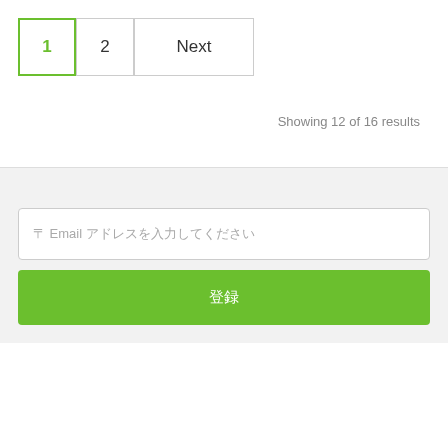[Figure (screenshot): Pagination control with buttons: 1 (active, green border), 2, Next]
Showing 12 of 16 results
〒 Email アドレスを入力してください
登録